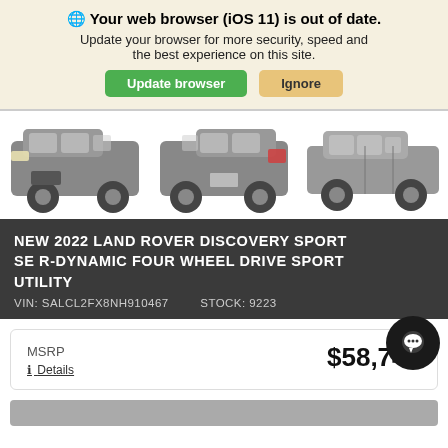Your web browser (iOS 11) is out of date. Update your browser for more security, speed and the best experience on this site.
[Figure (photo): Three views of a Land Rover Discovery Sport SUV in gray: front 3/4 view, rear 3/4 view, and side profile view]
NEW 2022 LAND ROVER DISCOVERY SPORT SE R-DYNAMIC FOUR WHEEL DRIVE SPORT UTILITY
VIN: SALCL2FX8NH910467   STOCK: 9223
|  |  |
| --- | --- |
| MSRP | $58,745 |
| Details |  |
[Figure (other): Bottom gray bar partially visible]